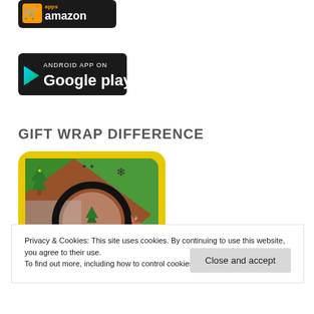[Figure (logo): Amazon Appstore badge - black rounded rectangle with 'apps' and Amazon logo and 'amazon' text in white]
[Figure (logo): Google Play badge - black rounded rectangle with 'ANDROID APP ON Google play' text and Google Play triangle logo]
GIFT WRAP DIFFERENCE
[Figure (screenshot): Game screenshot with yellow background showing Christmas gift wrapping scene with a magnifying glass, Christmas trees, reindeer, snowflakes, and colorful gift wrap patterns in red and green]
Privacy & Cookies: This site uses cookies. By continuing to use this website, you agree to their use.
To find out more, including how to control cookies, see here: Cookie Policy